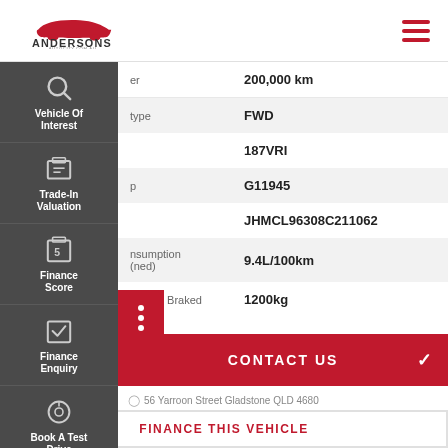[Figure (logo): Andersons Autocity logo with red car silhouette above ANDERSONS text]
| Field | Value |
| --- | --- |
|  | 200,000 km |
| Type | FWD |
|  | 187VRI |
|  | G11945 |
|  | JHMCL96308C211062 |
| Consumption (combined) | 9.4L/100km |
| Weight Braked | 1200kg |
CONTACT US
56 Yarroon Street Gladstone QLD 4680
FINANCE THIS VEHICLE